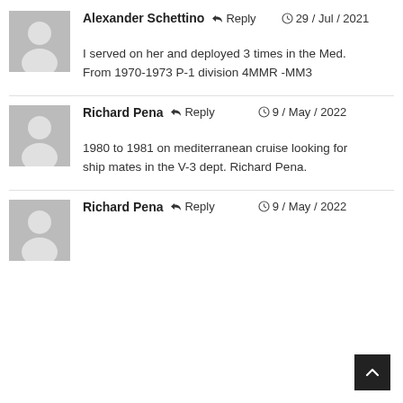Alexander Schettino  Reply  29 / Jul / 2021
I served on her and deployed 3 times in the Med. From 1970-1973 P-1 division 4MMR -MM3
Richard Pena  Reply  9 / May / 2022
1980 to 1981 on mediterranean cruise looking for ship mates in the V-3 dept. Richard Pena.
Richard Pena  Reply  9 / May / 2022